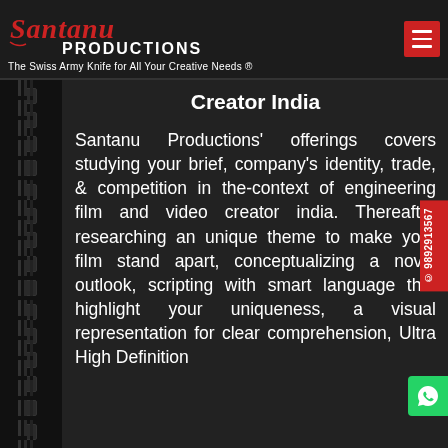[Figure (logo): Santanu Productions logo with cursive script 'Santanu' in red/white and bold 'PRODUCTIONS' text, with tagline 'The Swiss Army Knife for All Your Creative Needs ®']
Creator India
Santanu Productions' offerings covers studying your brief, company's identity, trade, & competition in the-context of engineering film and video creator india. Thereafter researching an unique theme to make your film stand apart, conceptualizing a novel outlook, scripting with smart language that highlight your uniqueness, a visual representation for clear comprehension, Ultra High Definition